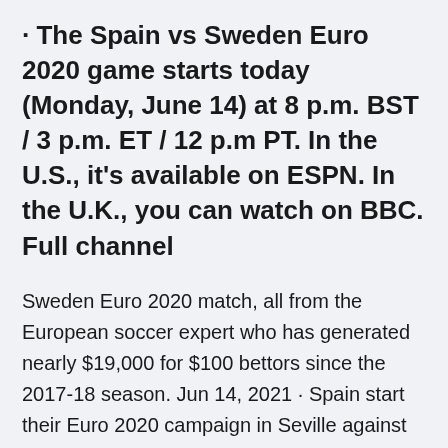· The Spain vs Sweden Euro 2020 game starts today (Monday, June 14) at 8 p.m. BST / 3 p.m. ET / 12 p.m PT. In the U.S., it's available on ESPN. In the U.K., you can watch on BBC. Full channel
Sweden Euro 2020 match, all from the European soccer expert who has generated nearly $19,000 for $100 bettors since the 2017-18 season. Jun 14, 2021 · Spain start their Euro 2020 campaign in Seville against familiar opponents from qualifying. They beat Sweden 3-0 in Madrid before a 1-1 draw in Solna, where the visitors levelled in added time. · Spain vs. Sweden live stream, UEFA EURO 2020, TV channel, start time, how to watch. Share this article share tweet text email link